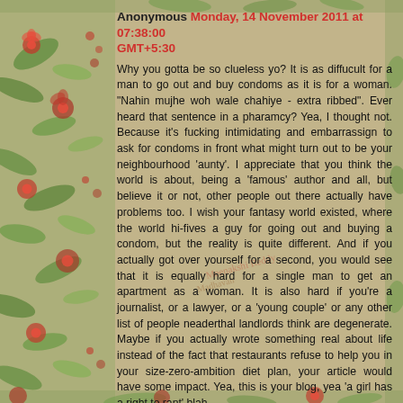Anonymous Monday, 14 November 2011 at 07:38:00 GMT+5:30
Why you gotta be so clueless yo? It is as diffucult for a man to go out and buy condoms as it is for a woman. "Nahin mujhe woh wale chahiye - extra ribbed". Ever heard that sentence in a pharamcy? Yea, I thought not. Because it's fucking intimidating and embarrassign to ask for condoms in front what might turn out to be your neighbourhood 'aunty'. I appreciate that you think the world is about, being a 'famous' author and all, but believe it or not, other people out there actually have problems too. I wish your fantasy world existed, where the world hi-fives a guy for going out and buying a condom, but the reality is quite different. And if you actually got over yourself for a second, you would see that it is equally hard for a single man to get an apartment as a woman. It is also hard if you're a journalist, or a lawyer, or a 'young couple' or any other list of people neaderthal landlords think are degenerate. Maybe if you actually wrote something real about life instead of the fact that restaurants refuse to help you in your size-zero-ambition diet plan, your article would have some impact. Yea, this is your blog, yea 'a girl has a right to rant' blah